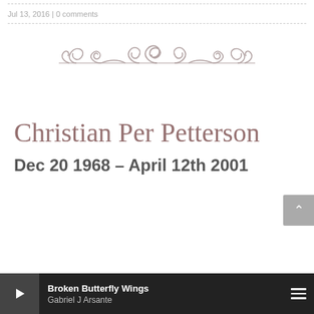Jul 13, 2016 | 0 comments
[Figure (illustration): Decorative ornamental divider with scrollwork and swirl motifs in gray]
Christian Per Petterson
Dec 20 1968 – April 12th 2001
Broken Butterfly Wings | Gabriel J Arsante